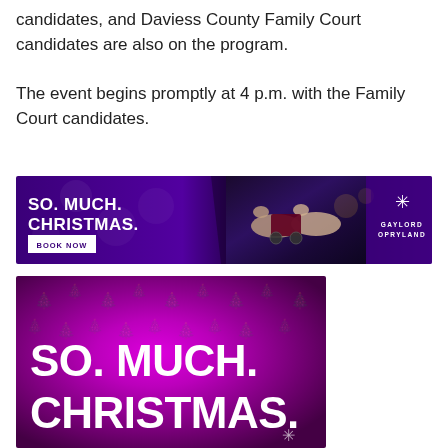candidates, and Daviess County Family Court candidates are also on the program.

The event begins promptly at 4 p.m. with the Family Court candidates.
[Figure (other): Gaylord Opryland advertisement banner with purple background, 'SO. MUCH. CHRISTMAS.' text, 'BOOK NOW' button, image of horse-drawn carriage at night, and Gaylord Opryland logo]
[Figure (other): Gaylord Opryland large advertisement with deep purple/magenta gradient background and Christmas tree pattern, showing 'SO. MUCH. CHRISTMAS.' in large white bold text and a small logo]